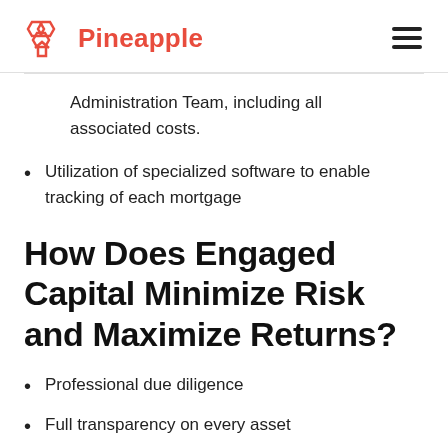Pineapple
Administration Team, including all associated costs.
Utilization of specialized software to enable tracking of each mortgage
How Does Engaged Capital Minimize Risk and Maximize Returns?
Professional due diligence
Full transparency on every asset